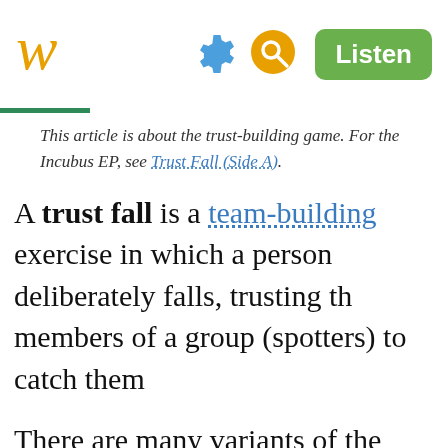W [Wikipedia logo] [gear icon] [search icon] Listen
This article is about the trust-building game. For the Incubus EP, see Trust Fall (Side A).
A trust fall is a team-building exercise in which a person deliberately falls, trusting the members of a group (spotters) to catch them.
There are many variants of the trust fall. In one type, the group stands in a circle, with one person in the middle with arms folded against his chest and falls in various directions, being pushed by the group back to a standing